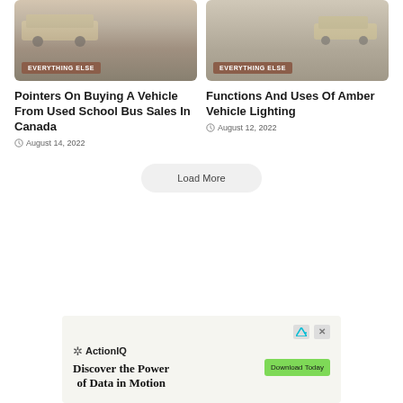[Figure (photo): Image of a school bus with EVERYTHING ELSE badge, left card]
[Figure (photo): Image of a vehicle with EVERYTHING ELSE badge, right card]
Pointers On Buying A Vehicle From Used School Bus Sales In Canada
August 14, 2022
Functions And Uses Of Amber Vehicle Lighting
August 12, 2022
Load More
[Figure (infographic): Advertisement for ActionIQ: Discover the Power of Data in Motion, with Download Today button]